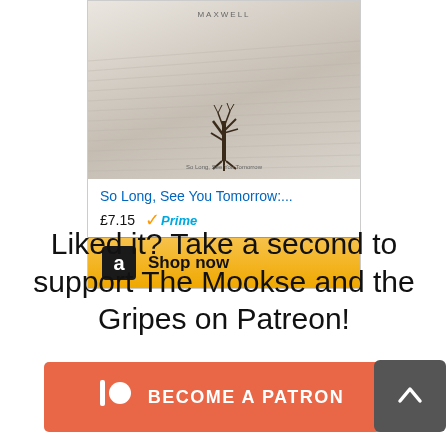[Figure (other): Amazon product widget showing book 'So Long, See You Tomorrow...' priced at £7.15 with Prime badge and a 'Shop now' button with Amazon logo]
Liked it? Take a second to support The Mookse and the Gripes on Patreon!
[Figure (other): Patreon 'Become a Patron' button in orange/red color with Patreon logo icon]